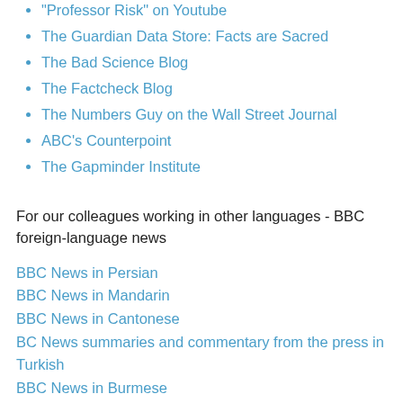"Professor Risk" on Youtube
The Guardian Data Store: Facts are Sacred
The Bad Science Blog
The Factcheck Blog
The Numbers Guy on the Wall Street Journal
ABC's Counterpoint
The Gapminder Institute
For our colleagues working in other languages - BBC foreign-language news
BBC News in Persian
BBC News in Mandarin
BBC News in Cantonese
BC News summaries and commentary from the press in Turkish
BBC News in Burmese
BBC News and commentary in Russian
BBC News Analysis in Ukrainian
BBC News in Indonesian